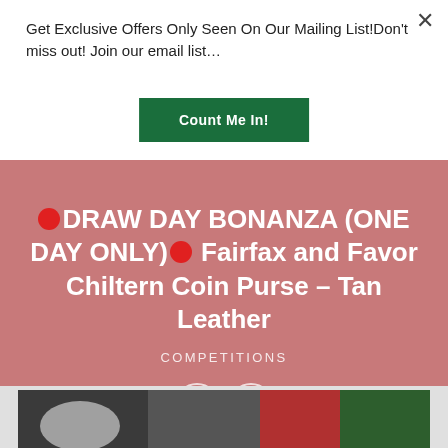Get Exclusive Offers Only Seen On Our Mailing List!Don't miss out! Join our email list…
Count Me In!
🔴DRAW DAY BONANZA (ONE DAY ONLY)🔴 Fairfax and Favor Chiltern Coin Purse – Tan Leather
COMPETITIONS
[Figure (illustration): Navigation arrows: left and right chevron buttons inside circles on pink background]
[Figure (photo): Partial bottom image strip showing what appears to be a product or lifestyle photo with dark, red, and green tones]